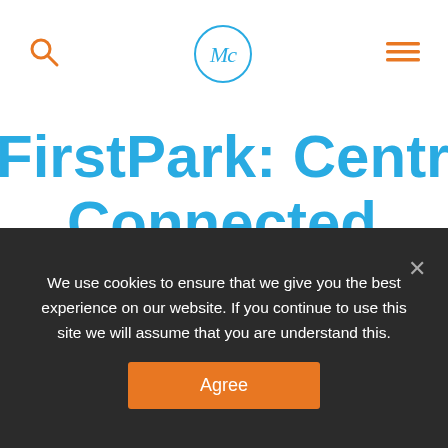MC logo, search icon, hamburger menu
FirstPark: Central Maine's Most Connected Business Park
We use cookies to ensure that we give you the best experience on our website. If you continue to use this site we will assume that you are understand this.
Agree